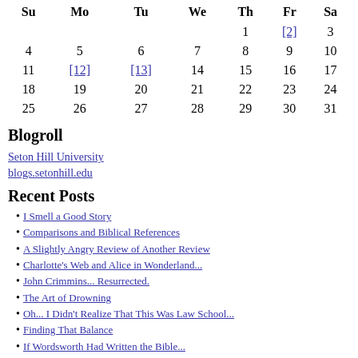| Su | Mo | Tu | We | Th | Fr | Sa |
| --- | --- | --- | --- | --- | --- | --- |
|  |  |  |  | 1 | [2] | 3 |
| 4 | 5 | 6 | 7 | 8 | 9 | 10 |
| 11 | [12] | [13] | 14 | 15 | 16 | 17 |
| 18 | 19 | 20 | 21 | 22 | 23 | 24 |
| 25 | 26 | 27 | 28 | 29 | 30 | 31 |
Blogroll
Seton Hill University
blogs.setonhill.edu
Recent Posts
I Smell a Good Story
Comparisons and Biblical References
A Slightly Angry Review of Another Review
Charlotte's Web and Alice in Wonderland...
John Crimmins... Resurrected.
The Art of Drowning
Oh... I Didn't Realize That This Was Law School...
Finding That Balance
If Wordsworth Had Written the Bible...